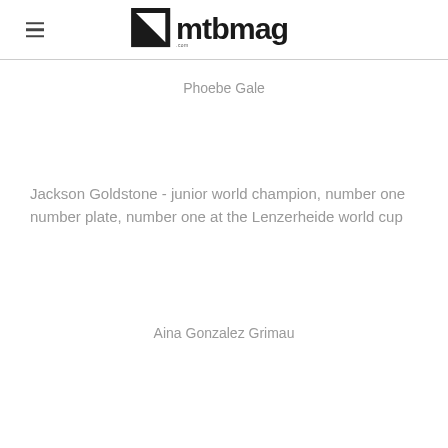mtbmag
Phoebe Gale
Jackson Goldstone - junior world champion, number one number plate, number one at the Lenzerheide world cup
Aina Gonzalez Grimau